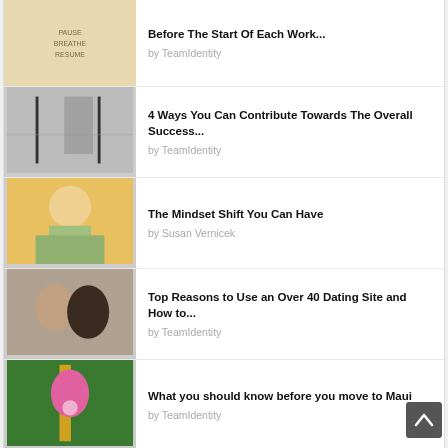[Figure (screenshot): Article listing page showing blog posts with thumbnails and titles]
Before The Start Of Each Work...
by TeamIdentity
[Figure (photo): Modern office interior with glass walls]
4 Ways You Can Contribute Towards The Overall Success...
by TeamIdentity
[Figure (photo): Woman smiling holding flowers on a couch]
The Mindset Shift You Can Have
by Susan Vernicek
[Figure (photo): Two people facing each other in profile]
Top Reasons to Use an Over 40 Dating Site and How to...
by TeamIdentity
[Figure (photo): Hawaiian scene with people in tropical clothing]
What you should know before you move to Maui
by TeamIdentity